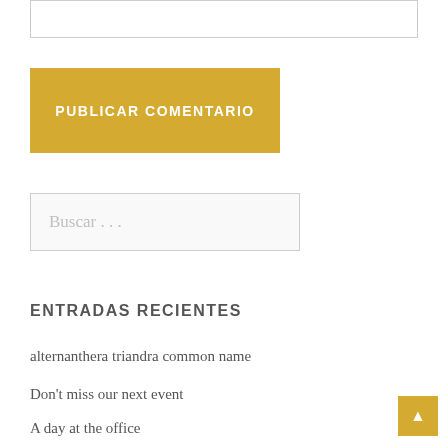[Figure (other): Empty textarea input box with gray border]
PUBLICAR COMENTARIO
[Figure (other): Search input box with placeholder text 'Buscar ...']
ENTRADAS RECIENTES
alternanthera triandra common name
Don't miss our next event
A day at the office